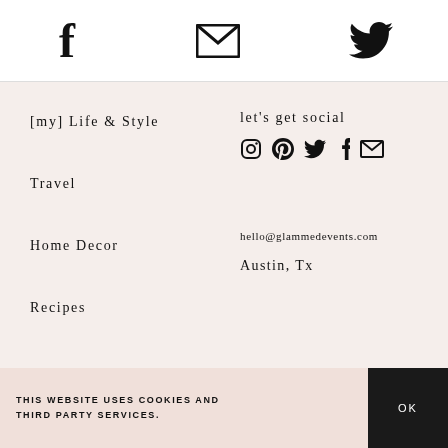[Figure (other): Social media icon bar at top: Facebook, email/envelope, Twitter icons in a row on white background]
[my] Life & Style
let's get social
[Figure (other): Social icons row: Instagram, Pinterest, Twitter, Facebook, Email]
Travel
Home Decor
hello@glammedevents.com
Recipes
Austin, Tx
THIS WEBSITE USES COOKIES AND THIRD PARTY SERVICES.
OK